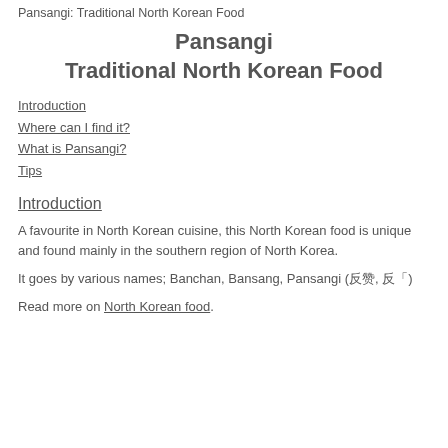Pansangi: Traditional North Korean Food
Pansangi
Traditional North Korean Food
Introduction
Where can I find it?
What is Pansangi?
Tips
Introduction
A favourite in North Korean cuisine, this North Korean food is unique and found mainly in the southern region of North Korea.
It goes by various names; Banchan, Bansang, Pansangi (반찬, 반상)
Read more on North Korean food.